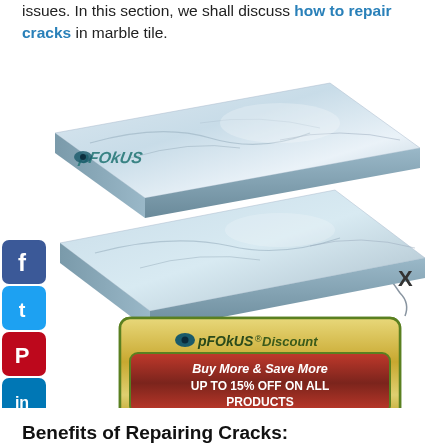issues. In this section, we shall discuss how to repair cracks in marble tile.
[Figure (illustration): Two marble tiles (white/grey with veining) shown in isometric perspective stacked/separated, with pFOkUS logo on the top tile. Social media icons (Facebook, Twitter, Pinterest, LinkedIn, Instagram) on the left side. An X mark on the right. A pFOkUS Discount banner overlay with 'Buy More & Save More UP TO 15% OFF ON ALL PRODUCTS' and a 'View Details' button.]
Benefits of Repairing Cracks: